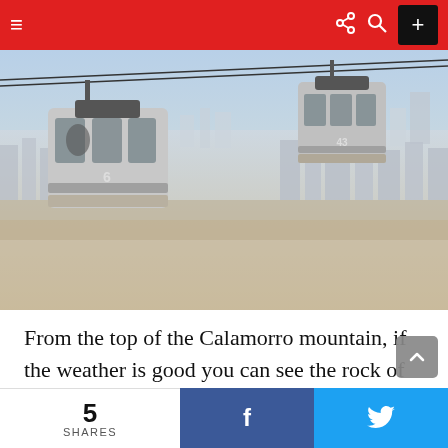≡  [share] [search] [+]
[Figure (photo): Two cable car gondolas suspended over a densely built city (Malaga, Spain) with hazy skyline in the background. The gondolas are numbered 6 and 43.]
From the top of the Calamorro mountain, if the weather is good you can see the rock of Gibraltar and the coast of Africa over the Mediterranean Sea. Of course, there is also spectacular view to the city of
5 SHARES  f  🐦